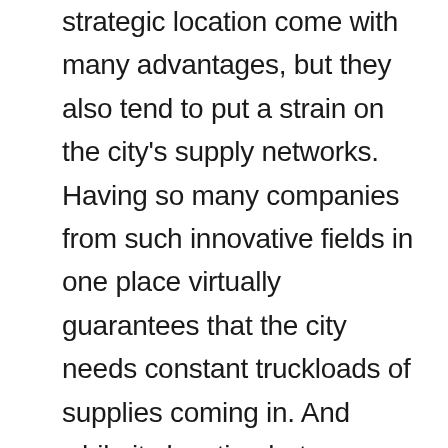strategic location come with many advantages, but they also tend to put a strain on the city's supply networks. Having so many companies from such innovative fields in one place virtually guarantees that the city needs constant truckloads of supplies coming in. And while its location between Chicago and Detroit means it's close to major trade routes and thus easier for suppliers to reach, it also means that those roads are constantly busy. Kalamazoo's suppliers are thus always at risk of getting cut off, whether from traffic, closed or damaged roads, or the myriad